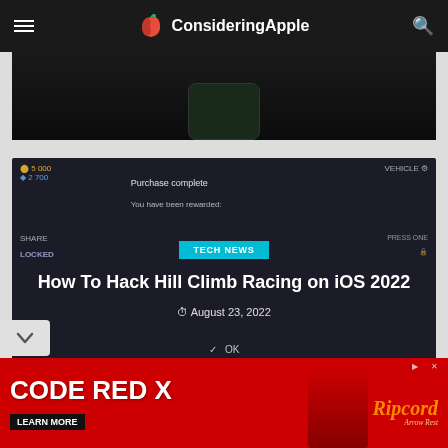ConsideringApple
[Figure (screenshot): Partial dark screenshot showing a mobile game interface at the top of the page]
[Figure (screenshot): Screenshot of Hill Climb Racing game showing 'Purchase complete' dialog with 'You have been rewarded' text and LOCKED vehicle. Overlay shows TECH NEWS badge, article title 'How To Hack Hill Climb Racing on iOS 2022', and date August 23, 2022]
TECH NEWS
How To Hack Hill Climb Racing on iOS 2022
August 23, 2022
[Figure (photo): Advertisement banner: CODE RED X with LEARN MORE button and Ripcord Arrow Rest product image on red background]